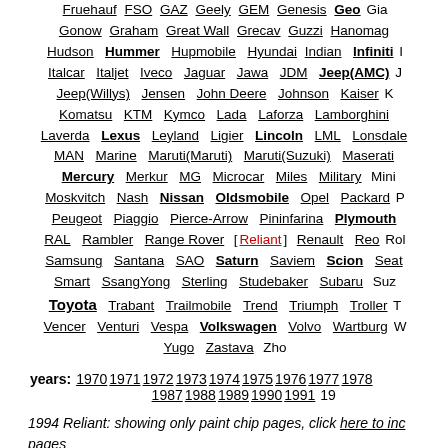Fruehauf FSO GAZ Geely GEM Genesis Geo Gia Gonow Graham Great Wall Grecav Guzzi Hanomag Hudson Hummer Hupmobile Hyundai Indian Infiniti I Italcar Italjet Iveco Jaguar Jawa JDM Jeep(AMC) J Jeep(Willys) Jensen John Deere Johnson Kaiser K Komatsu KTM Kymco Lada Laforza Lamborghini Laverda Lexus Leyland Ligier Lincoln LML Lonsdale MAN Marine Maruti(Maruti) Maruti(Suzuki) Maserati Mercury Merkur MG Microcar Miles Military Mini Moskvitch Nash Nissan Oldsmobile Opel Packard P Peugeot Piaggio Pierce-Arrow Pininfarina Plymouth RAL Rambler Range Rover [Reliant] Renault Reo Rol Samsung Santana SAO Saturn Saviem Scion Seat Smart SsangYong Sterling Studebaker Subaru Suz Toyota Trabant Trailmobile Trend Triumph Troller T Vencer Venturi Vespa Volkswagen Volvo Wartburg W Yugo Zastava Zho
years: 1970 1971 1972 1973 1974 1975 1976 1977 1978 1987 1988 1989 1990 1991 1...
1994 Reliant: showing only paint chip pages, click here to inc pages
[Figure (other): Three small thumbnail images of paint chip pages, the first with a red border, others with gray borders]